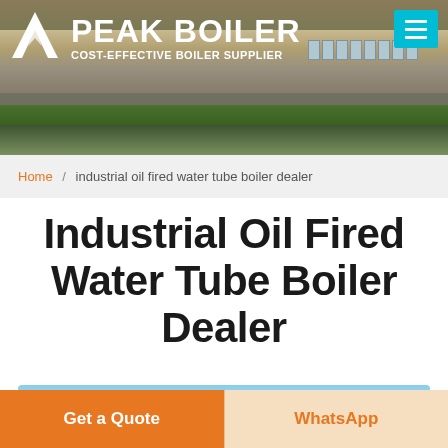[Figure (photo): Peak Boiler company header banner with building/factory photo background, white logo with mountain icon on left, 'PEAK BOILER' text in bold white, 'COST-EFFECTIVE BOILER SUPPLIER' tagline, and teal hamburger menu button on right]
Home / industrial oil fired water tube boiler dealer
Industrial Oil Fired Water Tube Boiler Dealer
[Figure (photo): Partial sky/clouds image at bottom, showing blue sky with white clouds]
Get a Quote
WhatsApp